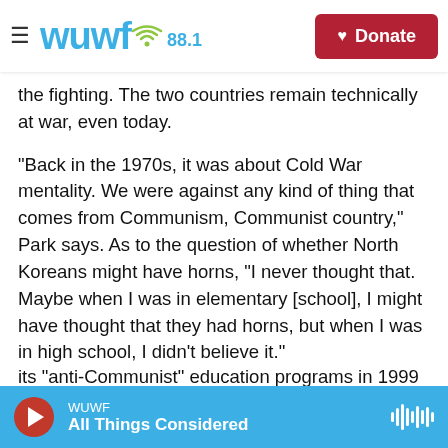WUWF 88.1 | Donate
the fighting. The two countries remain technically at war, even today.
"Back in the 1970s, it was about Cold War mentality. We were against any kind of thing that comes from Communism, Communist country," Park says. As to the question of whether North Koreans might have horns, "I never thought that. Maybe when I was in elementary [school], I might have thought that they had horns, but when I was in high school, I didn't believe it."
South Korea's government eventually phased out its "anti-Communist" education programs in 1999.
WUWF | All Things Considered